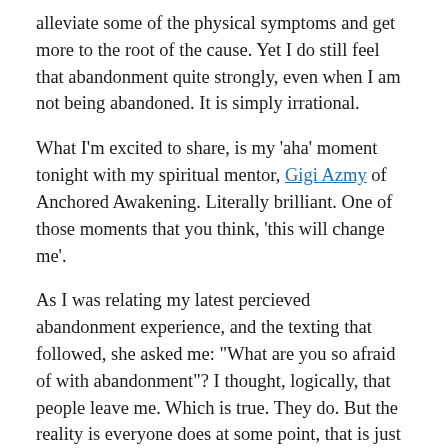alleviate some of the physical symptoms and get more to the root of the cause. Yet I do still feel that abandonment quite strongly, even when I am not being abandoned. It is simply irrational.
What I'm excited to share, is my 'aha' moment tonight with my spiritual mentor, Gigi Azmy of Anchored Awakening. Literally brilliant. One of those moments that you think, 'this will change me'.
As I was relating my latest percieved abandonment experience, and the texting that followed, she asked me: "What are you so afraid of with abandonment"? I thought, logically, that people leave me. Which is true. They do. But the reality is everyone does at some point, that is just part of life.
And how do you react to that, she asks? I think about it a bit, and I talk about my impulsivity; the holding on